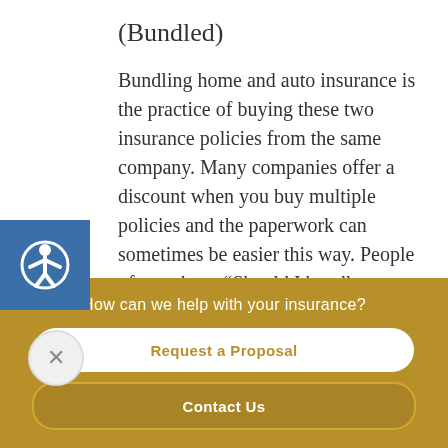(Bundled)
Bundling home and auto insurance is the practice of buying these two insurance policies from the same company. Many companies offer a discount when you buy multiple policies and the paperwork can sometimes be easier this way. People often ask us, “Should I bundle my home and auto
How can we help with your insurance?
Request a Proposal
Contact Us